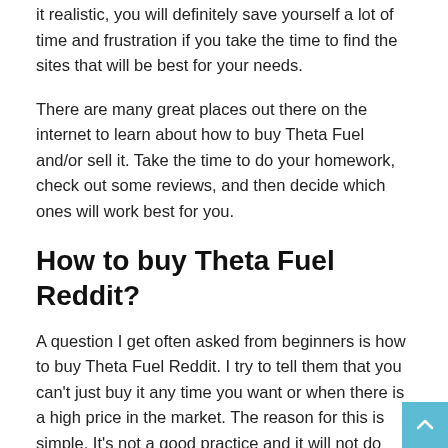it realistic, you will definitely save yourself a lot of time and frustration if you take the time to find the sites that will be best for your needs.
There are many great places out there on the internet to learn about how to buy Theta Fuel and/or sell it. Take the time to do your homework, check out some reviews, and then decide which ones will work best for you.
How to buy Theta Fuel Reddit?
A question I get often asked from beginners is how to buy Theta Fuel Reddit. I try to tell them that you can't just buy it any time you want or when there is a high price in the market. The reason for this is simple. It's not a good practice and it will not do you any good. If you want to be able to invest in the future of the future economy of the world then you have got to learn how to buy it.